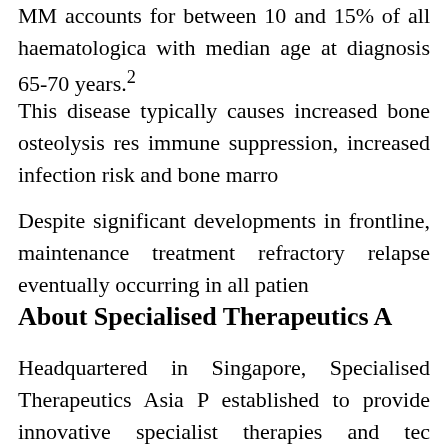MM accounts for between 10 and 15% of all haematologica with median age at diagnosis 65-70 years.²
This disease typically causes increased bone osteolysis res immune suppression, increased infection risk and bone marro
Despite significant developments in frontline, maintenance treatment refractory relapse eventually occurring in all patien
About Specialised Therapeutics A
Headquartered in Singapore, Specialised Therapeutics Asia P established to provide innovative specialist therapies and tec Australia and New Zealand. ST Asia's existing product po ophthalmology. Additional information can be found at www